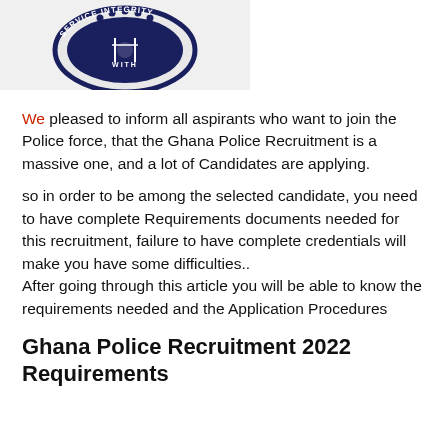[Figure (logo): Ghana Police Service crest/emblem with 'SERVICE WITH INTEGRITY' text, dark navy blue and red circular badge]
We pleased to inform all aspirants who want to join the Police force, that the Ghana Police Recruitment is a massive one, and a lot of Candidates are applying.
so in order to be among the selected candidate, you need to have complete Requirements documents needed for this recruitment, failure to have complete credentials will make you have some difficulties.. After going through this article you will be able to know the requirements needed and the Application Procedures
Ghana Police Recruitment 2022 Requirements